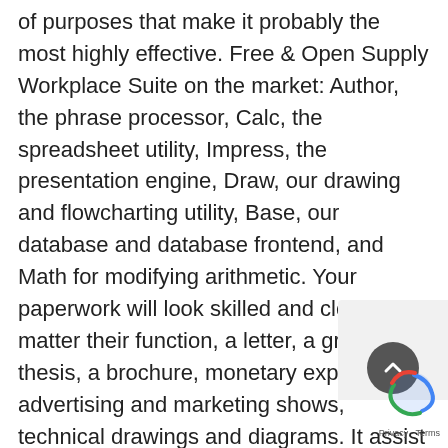of purposes that make it probably the most highly effective. Free & Open Supply Workplace Suite on the market: Author, the phrase processor, Calc, the spreadsheet utility, Impress, the presentation engine, Draw, our drawing and flowcharting utility, Base, our database and database frontend, and Math for modifying arithmetic. Your paperwork will look skilled and clear, no matter their function, a letter, a grasp thesis, a brochure, monetary experiences, advertising and marketing shows, technical drawings and diagrams. It assist and documentation is free from our giant, devoted neighborhood of customers, contributors, and builders. The author is the phrase processor inside Libre Workplace. Use it for every little thing, from dashing off a fast letter to producing a complete ebook with ta contents, embedded illustrations, bibliographies, diagrams. The while you type auto completion, auto-